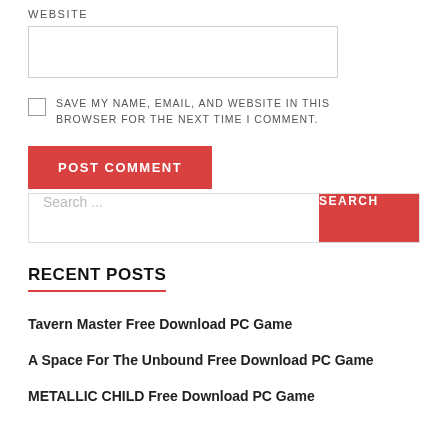WEBSITE
[input box]
SAVE MY NAME, EMAIL, AND WEBSITE IN THIS BROWSER FOR THE NEXT TIME I COMMENT.
POST COMMENT
Search...
SEARCH
RECENT POSTS
Tavern Master Free Download PC Game
A Space For The Unbound Free Download PC Game
METALLIC CHILD Free Download PC Game